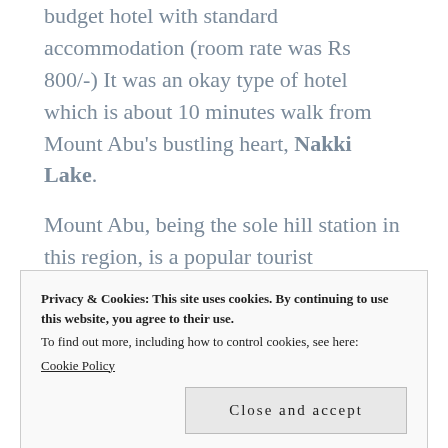budget hotel with standard accommodation (room rate was Rs 800/-) It was an okay type of hotel which is about 10 minutes walk from Mount Abu's bustling heart, Nakki Lake.
Mount Abu, being the sole hill station in this region, is a popular tourist destination. Vacationers and affluent local businessmen swarm in on weekends;
Privacy & Cookies: This site uses cookies. By continuing to use this website, you agree to their use.
To find out more, including how to control cookies, see here:
Cookie Policy

Close and accept
at the hotel when we reached by the Nakki